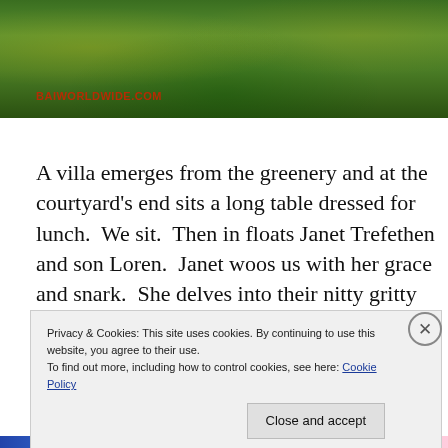[Figure (photo): Green lush vegetation/garden banner photo with red watermark text reading 'BAIWORLDWIDE.COM']
A villa emerges from the greenery and at the courtyard's end sits a long table dressed for lunch.  We sit.  Then in floats Janet Trefethen and son Loren.  Janet woos us with her grace and snark.  She delves into their nitty gritty past, selling wine out of a van,  and how she fought the 70's
Privacy & Cookies: This site uses cookies. By continuing to use this website, you agree to their use.
To find out more, including how to control cookies, see here: Cookie Policy
Close and accept